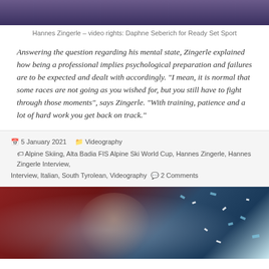[Figure (photo): Top portion of a video still showing a dark purple/blue background, partially visible.]
Hannes Zingerle – video rights: Daphne Seberich for Ready Set Sport
Answering the question regarding his mental state, Zingerle explained how being a professional implies psychological preparation and failures are to be expected and dealt with accordingly. "I mean, it is normal that some races are not going as you wished for, but you still have to fight through those moments", says Zingerle. "With training, patience and a lot of hard work you get back on track."
5 January 2021  Videography  Alpine Skiing, Alta Badia FIS Alpine Ski World Cup, Hannes Zingerle, Hannes Zingerle Interview, Interview, Italian, South Tyrolean, Videography  2 Comments
[Figure (photo): Photo of a young man with curly brown hair smiling, surrounded by blue and white confetti against a dark red background.]